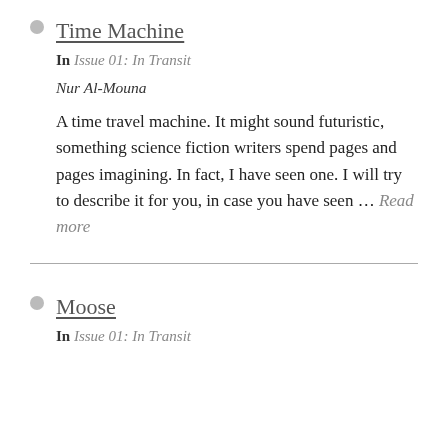Time Machine
In Issue 01: In Transit
Nur Al-Mouna
A time travel machine. It might sound futuristic, something science fiction writers spend pages and pages imagining. In fact, I have seen one. I will try to describe it for you, in case you have seen … Read more
Moose
In Issue 01: In Transit